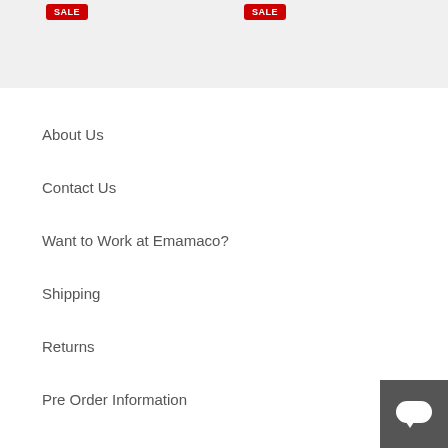[Figure (screenshot): Gray banner area at top with two red SALE buttons]
About Us
Contact Us
Want to Work at Emamaco?
Shipping
Returns
Pre Order Information
[Figure (illustration): Chat button widget in bottom right corner, dark gray square with white speech bubble icon]